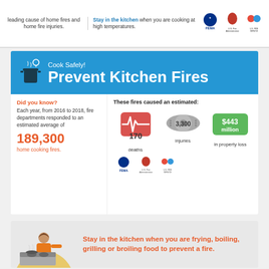leading cause of home fires and home fire injuries.
Stay in the kitchen when you are cooking at high temperatures.
Cook Safely! Prevent Kitchen Fires
Did you know? Each year, from 2016 to 2018, fire departments responded to an estimated average of 189,300 home cooking fires.
These fires caused an estimated: 170 deaths, 3,300 injuries, $443 million in property loss
Stay in the kitchen when you are frying, boiling, grilling or broiling food to prevent a fire.